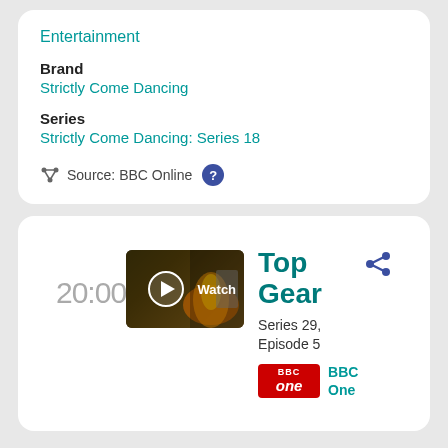Entertainment
Brand
Strictly Come Dancing
Series
Strictly Come Dancing: Series 18
Source: BBC Online ?
20:00
[Figure (screenshot): Thumbnail image of Top Gear episode with play button overlay and Watch label]
Top Gear
Series 29, Episode 5
[Figure (logo): BBC One red logo badge]
BBC One